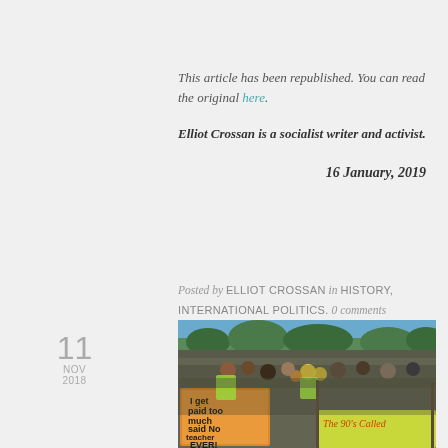This article has been republished. You can read the original here.
Elliot Crossan is a socialist writer and activist.
16 January, 2019
Posted by ELLIOT CROSSAN in HISTORY, INTERNATIONAL POLITICS. 0 comments
11
NOV
2018
[Figure (photo): A large crowd of protesters at a rally, holding signs including one that reads 'I get paid too much said No teacher EVER!' and a banner reading 'The 90's Called']